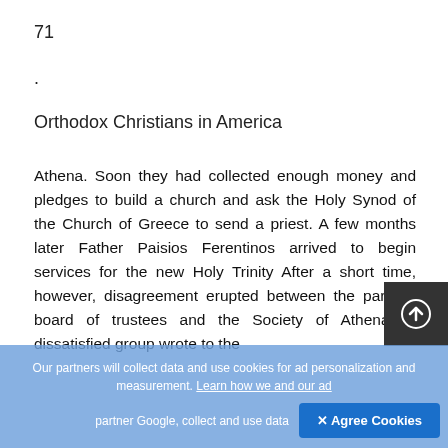71
.
Orthodox Christians in America
Athena. Soon they had collected enough money and pledges to build a church and ask the Holy Synod of the Church of Greece to send a priest. A few months later Father Paisios Ferentinos arrived to begin services for the new Holy Trinity After a short time, however, disagreement erupted between the parish's board of trustees and the Society of Athena. A dissatisfied group wrote to the